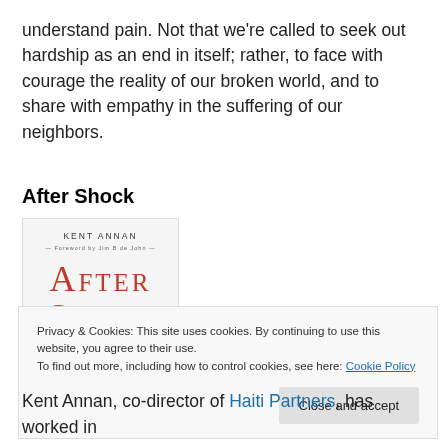understand pain. Not that we're called to seek out hardship as an end in itself; rather, to face with courage the reality of our broken world, and to share with empathy in the suffering of our neighbors.
After Shock
[Figure (illustration): Book cover of 'After Shock' by Kent Annan, with red serif text on a light background and subtitle text at the bottom.]
Privacy & Cookies: This site uses cookies. By continuing to use this website, you agree to their use.
To find out more, including how to control cookies, see here: Cookie Policy
Kent Annan, co-director of Haiti Partners, has worked in